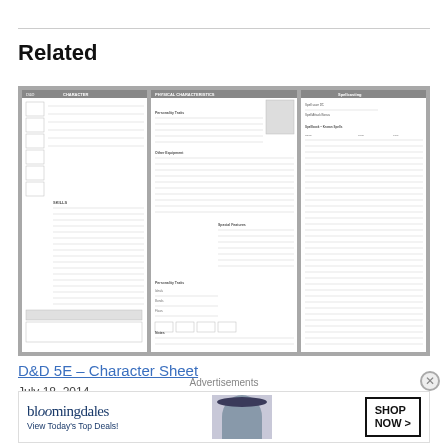Related
[Figure (illustration): Three D&D 5E character sheet pages shown as a preview thumbnail: a character sheet, a second sheet with a photo box and various fields, and a spell list / reference sheet.]
D&D 5E – Character Sheet
July 18, 2014
In "Playing Aids"
Advertisements
[Figure (illustration): Bloomingdale's advertisement: logo, 'View Today's Top Deals!' tagline, photo of woman in wide-brim hat, and 'SHOP NOW >' button.]